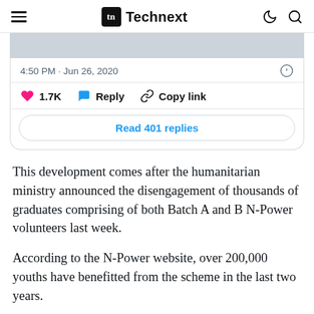Technext
[Figure (screenshot): Partial tweet embed showing timestamp 4:50 PM · Jun 26, 2020, likes count 1.7K, Reply and Copy link actions, and a Read 401 replies button]
This development comes after the humanitarian ministry announced the disengagement of thousands of graduates comprising of both Batch A and B N-Power volunteers last week.
According to the N-Power website, over 200,000 youths have benefitted from the scheme in the last two years.